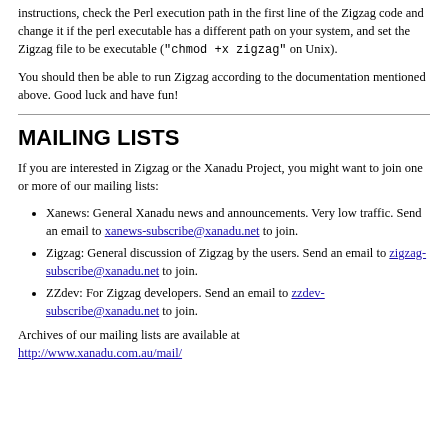instructions, check the Perl execution path in the first line of the Zigzag code and change it if the perl executable has a different path on your system, and set the Zigzag file to be executable ("chmod +x zigzag" on Unix).
You should then be able to run Zigzag according to the documentation mentioned above. Good luck and have fun!
MAILING LISTS
If you are interested in Zigzag or the Xanadu Project, you might want to join one or more of our mailing lists:
Xanews: General Xanadu news and announcements. Very low traffic. Send an email to xanews-subscribe@xanadu.net to join.
Zigzag: General discussion of Zigzag by the users. Send an email to zigzag-subscribe@xanadu.net to join.
ZZdev: For Zigzag developers. Send an email to zzdev-subscribe@xanadu.net to join.
Archives of our mailing lists are available at http://www.xanadu.com.au/mail/